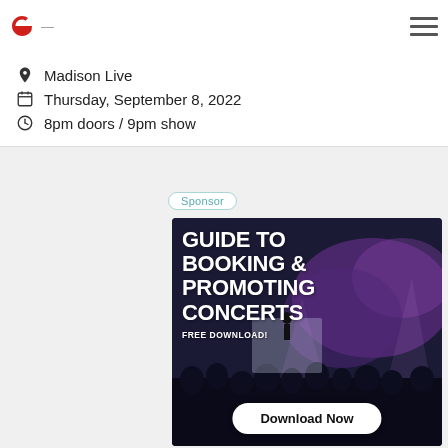C — [navigation bar with logo and hamburger menu]
Madison Live
Thursday, September 8, 2022
8pm doors / 9pm show
Sponsor
[Figure (infographic): Advertisement banner showing a concert crowd with stage lighting. Text reads: GUIDE TO BOOKING & PROMOTING CONCERTS FREE DOWNLOAD! with a Download Now button at the bottom.]